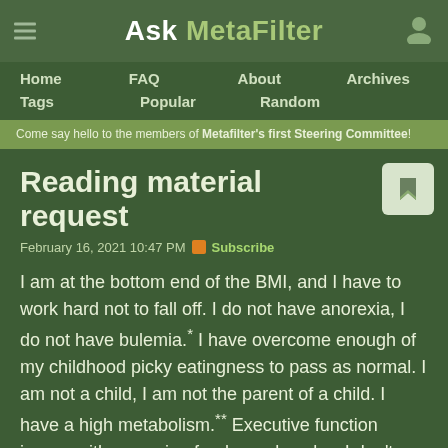Ask MetaFilter
Home
FAQ
About
Archives
Tags
Popular
Random
Come say hello to the members of Metafilter's first Steering Committee!
Reading material request
February 16, 2021 10:47 PM  Subscribe
I am at the bottom end of the BMI, and I have to work hard not to fall off. I do not have anorexia, I do not have bulemia.* I have overcome enough of my childhood picky eatingness to pass as normal. I am not a child, I am not the parent of a child. I have a high metabolism.** Executive function issues with preparing food are also play. I don't know anyone who deals with this and I feel alone. Any workarounds I've figured out, I've had to reverse-engineer from articles directed at people who aren't me. I'd really like to read some articles